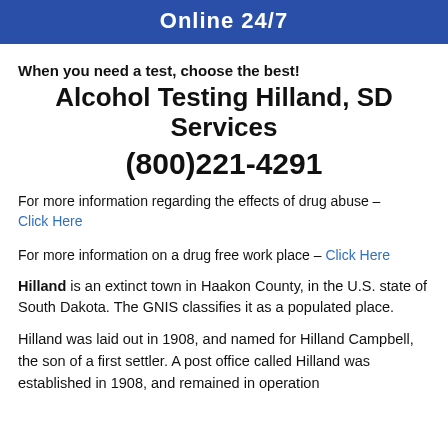[Figure (other): Dark blue banner with white bold text reading 'Online 24/7']
When you need a test, choose the best!
Alcohol Testing Hilland, SD Services (800)221-4291
For more information regarding the effects of drug abuse – Click Here
For more information on a drug free work place – Click Here
Hilland is an extinct town in Haakon County, in the U.S. state of South Dakota. The GNIS classifies it as a populated place.
Hilland was laid out in 1908, and named for Hilland Campbell, the son of a first settler. A post office called Hilland was established in 1908, and remained in operation